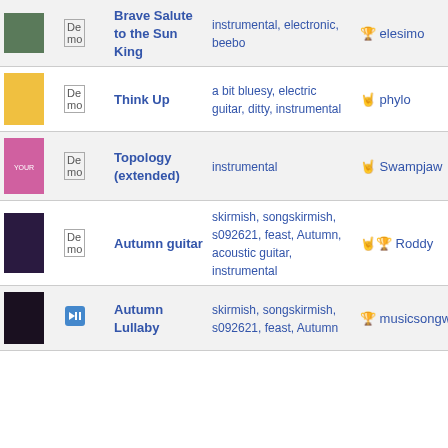| Image | Format | Title | Tags | User |
| --- | --- | --- | --- | --- |
| [photo] | Demo | Brave Salute to the Sun King | instrumental, electronic, beebo | 🏆 elesimo |
| [photo] | Demo | Think Up | a bit bluesy, electric guitar, ditty, instrumental | 🤘 phylo |
| [photo] | Demo | Topology (extended) | instrumental | 🤘 Swampjaw |
| [photo] | Demo | Autumn guitar | skirmish, songskirmish, s092621, feast, Autumn, acoustic guitar, instrumental | 🤘🏆 Roddy |
| [photo] | 🔊 | Autumn Lullaby | skirmish, songskirmish, s092621, feast, Autumn | 🏆 musicsongwriter |